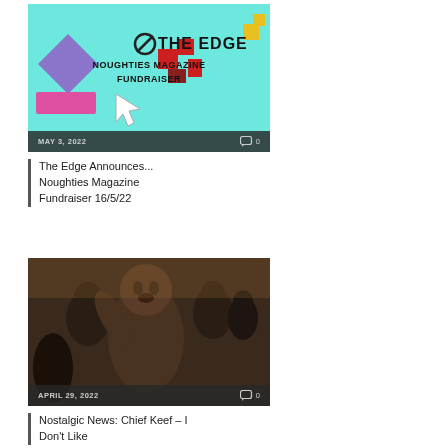[Figure (photo): The Edge Noughties Magazine Fundraiser promotional image on a teal background with pixel art elements, date MAY 3, 2022 and comment count 0]
The Edge Announces... Noughties Magazine Fundraiser 16/5/22
[Figure (photo): Photo of Chief Keef and group, date APRIL 29, 2022 and comment count 0]
Nostalgic News: Chief Keef – I Don't Like